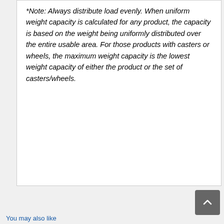*Note:  Always distribute load evenly.  When uniform weight capacity is calculated for any product, the capacity is based on the weight being uniformly distributed over the entire usable area.  For those products with casters or wheels, the maximum weight capacity is the lowest weight capacity of either the product or the set of casters/wheels.
You may also like